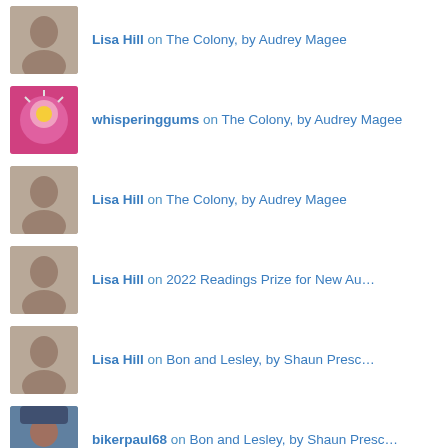Lisa Hill on The Colony, by Audrey Magee
whisperinggums on The Colony, by Audrey Magee
Lisa Hill on The Colony, by Audrey Magee
Lisa Hill on 2022 Readings Prize for New Au…
Lisa Hill on Bon and Lesley, by Shaun Presc…
bikerpaul68 on Bon and Lesley, by Shaun Presc…
bikerpaul68 on 2022 Readings Prize for New Au…
YOUR FAVOURITES TODAY
Things We Didn't See Coming, by Steven Amsterdam
ANZLL Books You Must Read
'The Singers', by Ivan Turgenev, translated by David Magarshack, in A